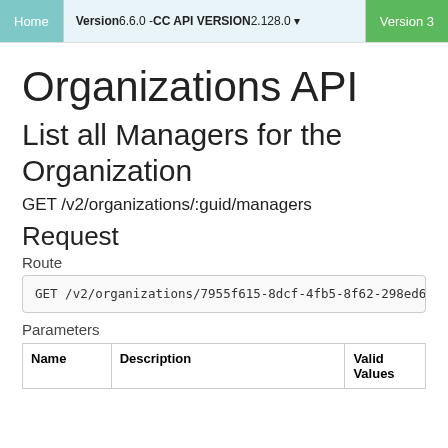Home | Version 6.6.0 - CC API VERSION 2.128.0 ▾ | Version 3
Organizations API
List all Managers for the Organization
GET /v2/organizations/:guid/managers
Request
Route
GET /v2/organizations/7955f615-8dcf-4fb5-8f62-298ed6
Parameters
| Name | Description | Valid Values |
| --- | --- | --- |